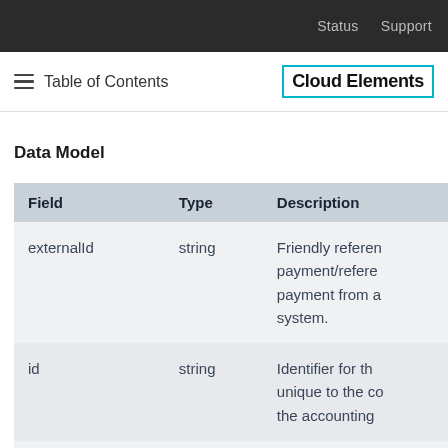Status  Support
≡ Table of Contents  Cloud Elements
Data Model
| Field | Type | Description |
| --- | --- | --- |
| externalId | string | Friendly reference payment/reference payment from a system. |
| id | string | Identifier for the unique to the co the accounting |
|  |  | Amount of the |